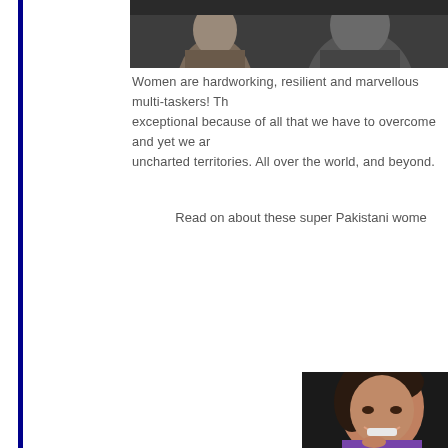[Figure (photo): Top photo showing two people (silhouettes/portraits) against a dark background, cropped at the top of the page]
Women are hardworking, resilient and marvellous multi-taskers! They are exceptional because of all that we have to overcome and yet we are conquering uncharted territories. All over the world, and beyond.
Read on about these super Pakistani wome
[Figure (photo): Portrait of a smiling South Asian woman with dark hair pulled back, wearing a purple top, with chin resting on hand, photographed against a dark background]